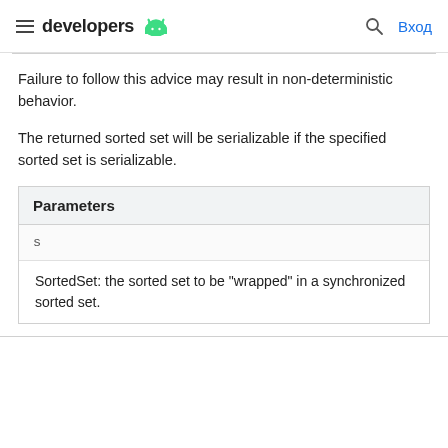developers [Android logo] | [search icon] Вход
Failure to follow this advice may result in non-deterministic behavior.
The returned sorted set will be serializable if the specified sorted set is serializable.
| Parameters |
| --- |
| s |
| SortedSet: the sorted set to be "wrapped" in a synchronized sorted set. |